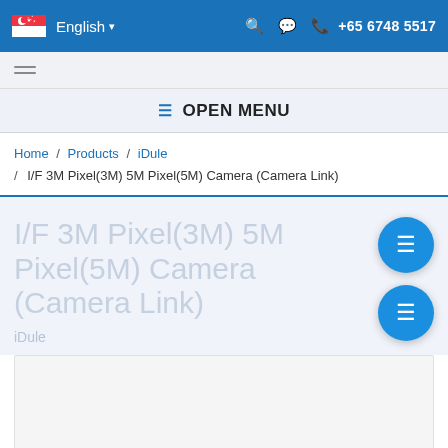English  +65 6748 5517
OPEN MENU
Home / Products / iDule / I/F 3M Pixel(3M) 5M Pixel(5M) Camera (Camera Link)
I/F 3M Pixel(3M) 5M Pixel(5M) Camera (Camera Link)
iDule